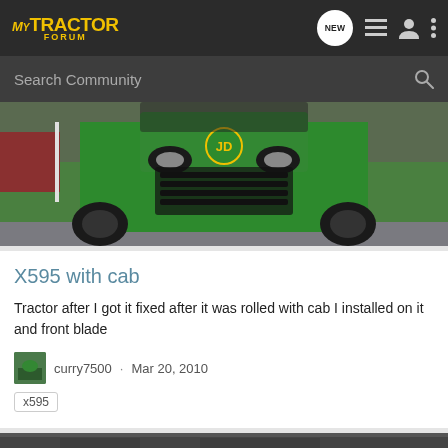MyTractor Forum
Search Community
[Figure (photo): Front view of a green John Deere X595 tractor with cab, showing headlights, grille, and front wheels, parked on a driveway with grass and a red building in the background.]
X595 with cab
Tractor after I got it fixed after it was rolled with cab I installed on it and front blade
curry7500 · Mar 20, 2010
x595
[Figure (photo): Partially visible bottom image, blurred/dark, showing another tractor or similar vehicle.]